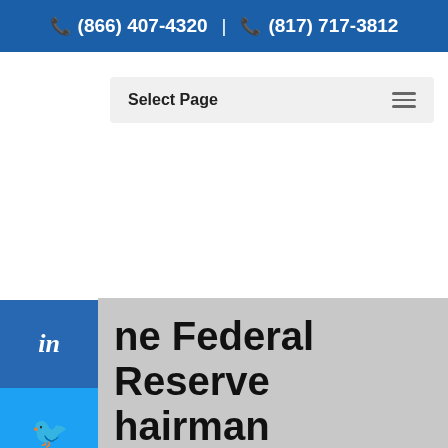☎ (866) 407-4320 | ☎ (817) 717-3812
Select Page
ne Federal Reserve hairman
Brian Tillotson | Jan 31, 2018
There have been many big headlines coming out of Washington these days, but one that should not be overlooked is the nomination of the new Federal Reserve Chai... for controlling
This site uses cookies to give you the best experience possible. Continuing to use the site implies you agree.
CHECK THE BACKGROUND OF THIS FIRM   BrokerCheck by FINRA